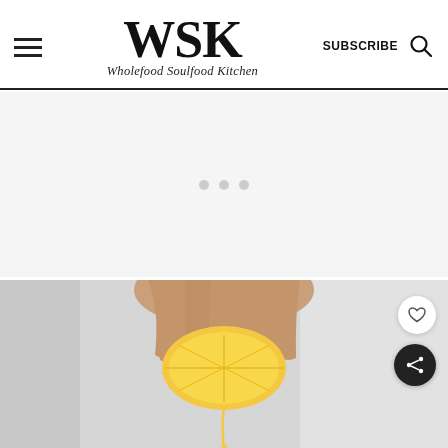WSK — Wholefood Soulfood Kitchen — SUBSCRIBE
[Figure (other): Advertisement placeholder area with three small grey dots centered on a light grey background]
[Figure (photo): A hand squeezing a lemon half, with juice dripping down, against a light grey background. Social action buttons (heart/favourite and share) overlay the right side.]